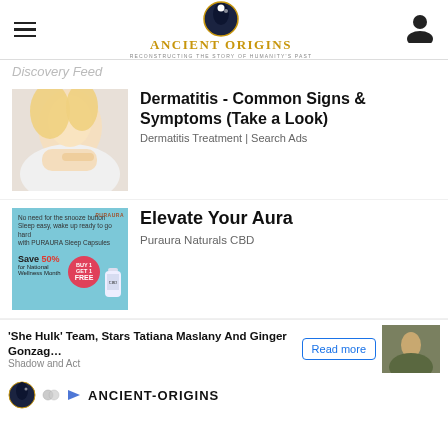Ancient Origins — Reconstructing the story of humanity's past
Discovery Feed
[Figure (photo): Woman scratching her arm, blonde hair, white background — advertisement for dermatitis treatment]
Dermatitis - Common Signs & Symptoms (Take a Look)
Dermatitis Treatment | Search Ads
[Figure (photo): Light blue advertisement for Puraura Naturals CBD sleep capsules, Save 50% for National Wellness Month, Free bonus offer]
Elevate Your Aura
Puraura Naturals CBD
'She Hulk' Team, Stars Tatiana Maslany And Ginger Gonzag…
Shadow and Act
Read more
[Figure (photo): Small thumbnail of a person outdoors]
[Figure (logo): Ancient Origins small logo icon]
ANCIENT-ORIGINS